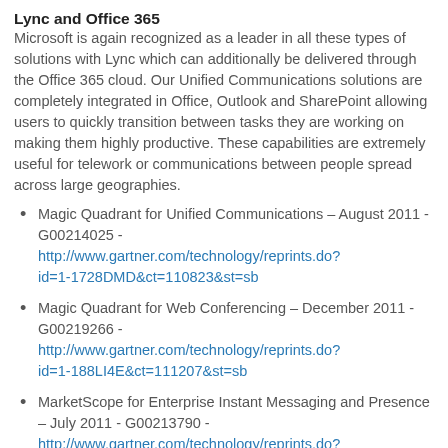Lync and Office 365
Microsoft is again recognized as a leader in all these types of solutions with Lync which can additionally be delivered through the Office 365 cloud. Our Unified Communications solutions are completely integrated in Office, Outlook and SharePoint allowing users to quickly transition between tasks they are working on making them highly productive. These capabilities are extremely useful for telework or communications between people spread across large geographies.
Magic Quadrant for Unified Communications – August 2011 - G00214025 - http://www.gartner.com/technology/reprints.do?id=1-1728DMD&ct=110823&st=sb
Magic Quadrant for Web Conferencing – December 2011 - G00219266 - http://www.gartner.com/technology/reprints.do?id=1-188LI4E&ct=111207&st=sb
MarketScope for Enterprise Instant Messaging and Presence – July 2011 - G00213790 - http://www.gartner.com/technology/reprints.do?...